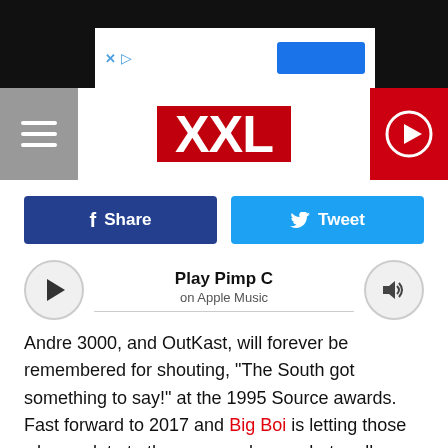[Figure (screenshot): Screenshot of XXL magazine website on a mobile device showing a navigation header with XXL logo, social share buttons for Facebook and Twitter, an Apple Music player widget for Pimp C, and article text about Andre 3000 and OutKast.]
Play Pimp C on Apple Music
Andre 3000, and OutKast, will forever be remembered for shouting, "The South got something to say!" at the 1995 Source awards. Fast forward to 2017 and Big Boi is letting those who are late to the program know what really goes down below the Bible Belt with his new single "In the South." To help provide even more context and some Southern